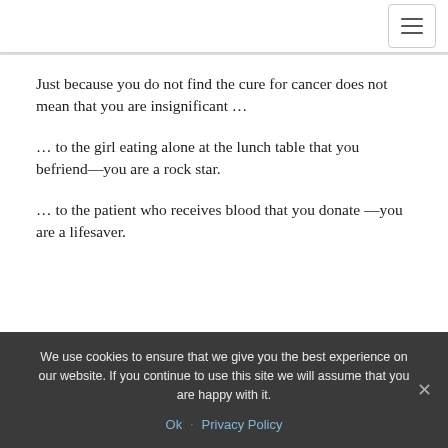Just because you do not find the cure for cancer does not mean that you are insignificant …
… to the girl eating alone at the lunch table that you befriend—you are a rock star.
… to the patient who receives blood that you donate —you are a lifesaver.
We use cookies to ensure that we give you the best experience on our website. If you continue to use this site we will assume that you are happy with it.
Ok  ·  Privacy Policy